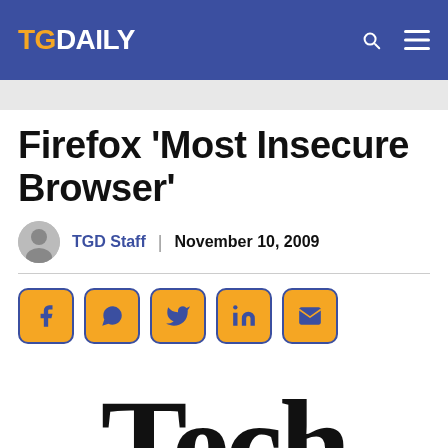TG DAILY
Firefox ‘Most Insecure Browser’
TGD Staff | November 10, 2009
[Figure (infographic): Row of 5 social share buttons: Facebook, WhatsApp, Twitter, LinkedIn, Email — gold background with dark blue border and icons]
[Figure (photo): Blurred large serif 'Tech' text in black on white background, representing a tech publication image]